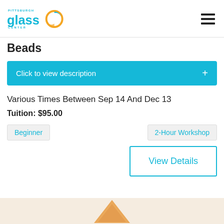Pittsburgh Glass Center
Beads
Click to view description
Various Times Between Sep 14 And Dec 13
Tuition: $95.00
Beginner
2-Hour Workshop
View Details
[Figure (photo): Bottom strip showing a decorative glass bead or object, orange/gold tones, partially visible at bottom of page]